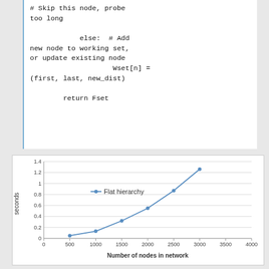# Skip this node, probe too long

        else:  # Add new node to working set, or update existing node
                        Wset[n] = (first, last, new_dist)

        return Fset
[Figure (line-chart): ]